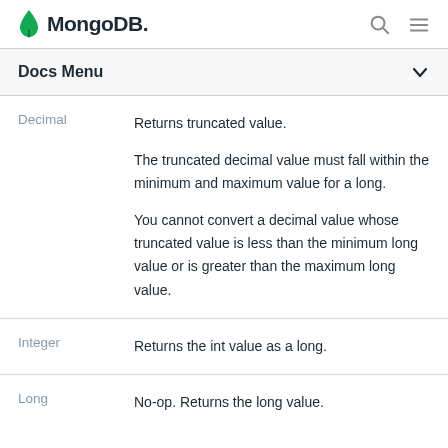MongoDB
Docs Menu
| Type | Description |
| --- | --- |
| Decimal | Returns truncated value.

The truncated decimal value must fall within the minimum and maximum value for a long.

You cannot convert a decimal value whose truncated value is less than the minimum long value or is greater than the maximum long value. |
| Integer | Returns the int value as a long. |
| Long | No-op. Returns the long value. |